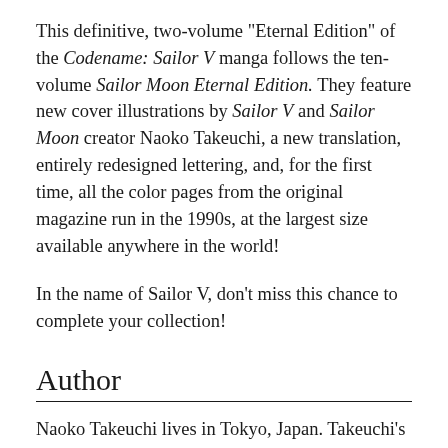This definitive, two-volume "Eternal Edition" of the Codename: Sailor V manga follows the ten-volume Sailor Moon Eternal Edition. They feature new cover illustrations by Sailor V and Sailor Moon creator Naoko Takeuchi, a new translation, entirely redesigned lettering, and, for the first time, all the color pages from the original magazine run in the 1990s, at the largest size available anywhere in the world!

In the name of Sailor V, don't miss this chance to complete your collection!
Author
Naoko Takeuchi lives in Tokyo, Japan. Takeuchi's works have a wide following among anime and